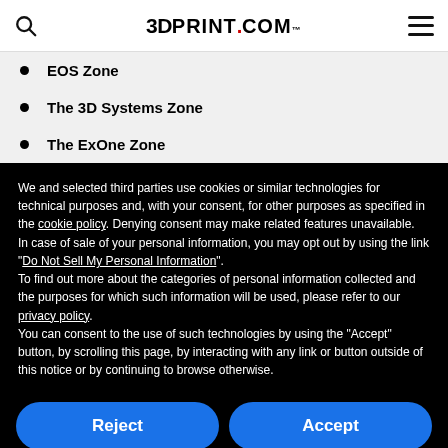3DPrint.com
EOS Zone
The 3D Systems Zone
The ExOne Zone
We and selected third parties use cookies or similar technologies for technical purposes and, with your consent, for other purposes as specified in the cookie policy. Denying consent may make related features unavailable.
In case of sale of your personal information, you may opt out by using the link "Do Not Sell My Personal Information".
To find out more about the categories of personal information collected and the purposes for which such information will be used, please refer to our privacy policy.
You can consent to the use of such technologies by using the "Accept" button, by scrolling this page, by interacting with any link or button outside of this notice or by continuing to browse otherwise.
Reject
Accept
Learn more and customize